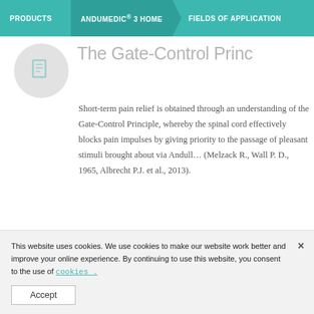PRODUCTS | ANDUMEDIC® 3 HOME | FIELDS OF APPLICATION
The Gate-Control Princ…
[Figure (illustration): Circular icon with a book or card symbol inside, on a light grey circular background]
Short-term pain relief is obtained through an understanding of the Gate-Control Principle, whereby the spinal cord effectively blocks pain impulses by giving priority to the passage of pleasant stimuli brought about via Andull… (Melzack R., Wall P. D., 1965, Albrecht P.J. et al., 2013).
[Figure (illustration): Circular icon with stacked pages/documents symbol inside, on a light grey circular background]
Liberation of endorphins…
This website uses cookies. We use cookies to make our website work better and improve your online experience. By continuing to use this website, you consent to the use of cookies.